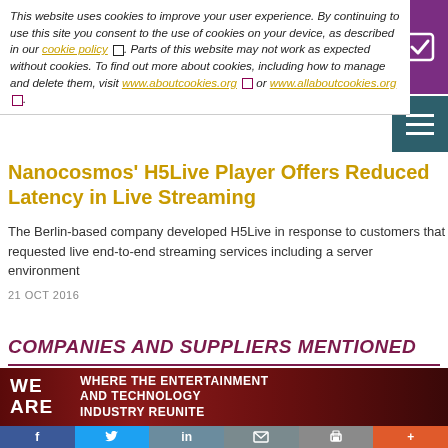This website uses cookies to improve your user experience. By continuing to use this site you consent to the use of cookies on your device, as described in our cookie policy. Parts of this website may not work as expected without cookies. To find out more about cookies, including how to manage and delete them, visit www.aboutcookies.org or www.allaboutcookies.org.
Nanocosmos' H5Live Player Offers Reduced Latency in Live Streaming
The Berlin-based company developed H5Live in response to customers that requested live end-to-end streaming services including a server environment
21 OCT 2016
COMPANIES AND SUPPLIERS MENTIONED
[Figure (photo): Dark red banner with WE ARE text on left and WHERE THE ENTERTAINMENT AND TECHNOLOGY INDUSTRY REUNITE text on right]
f  t  in  email  print  +